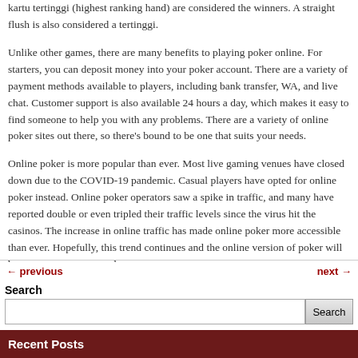kartu tertinggi (highest ranking hand) are considered the winners. A straight flush is also considered a tertinggi.
Unlike other games, there are many benefits to playing poker online. For starters, you can deposit money into your poker account. There are a variety of payment methods available to players, including bank transfer, WA, and live chat. Customer support is also available 24 hours a day, which makes it easy to find someone to help you with any problems. There are a variety of online poker sites out there, so there's bound to be one that suits your needs.
Online poker is more popular than ever. Most live gaming venues have closed down due to the COVID-19 pandemic. Casual players have opted for online poker instead. Online poker operators saw a spike in traffic, and many have reported double or even tripled their traffic levels since the virus hit the casinos. The increase in online traffic has made online poker more accessible than ever. Hopefully, this trend continues and the online version of poker will become even more popular.
← previous    next →
Search
Recent Posts